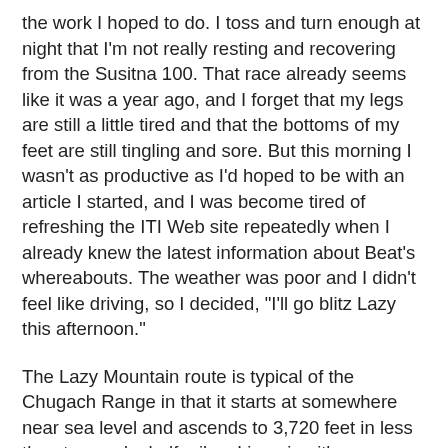the work I hoped to do. I toss and turn enough at night that I'm not really resting and recovering from the Susitna 100. That race already seems like it was a year ago, and I forget that my legs are still a little tired and that the bottoms of my feet are still tingling and sore. But this morning I wasn't as productive as I'd hoped to be with an article I started, and I was become tired of refreshing the ITI Web site repeatedly when I already knew the latest information about Beat's whereabouts. The weather was poor and I didn't feel like driving, so I decided, "I'll go blitz Lazy this afternoon."
The Lazy Mountain route is typical of the Chugach Range in that it starts at somewhere near sea level and ascends to 3,720 feet in less than two and a half miles. I imagine it's pleasantly steep in the summer, but in the winter, touring skiers and hikers pack the route into an icy slide with a deceptive skiff of powder. I wore crampons for maximum traction and my plan was to hike it as hard as I could. I endured 2,000 feet of calf-searing, lung-pounding, sweat-drenched marching before I broke near treeline. The temperature was about 16 degrees with a stiff wind, light snow was falling, and I debated heading back down. But